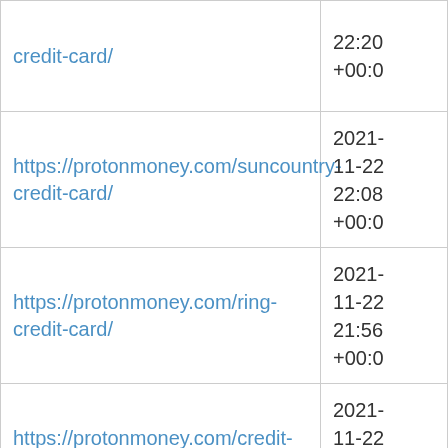| URL | Date |
| --- | --- |
| credit-card/ | 22:20 +00:0 |
| https://protonmoney.com/suncountry-credit-card/ | 2021-11-22 22:08 +00:0 |
| https://protonmoney.com/ring-credit-card/ | 2021-11-22 21:56 +00:0 |
| https://protonmoney.com/credit-card-validation/ | 2021-11-22 21:44 +00:0 |
| https://protonmoney.com/amplify- | 2021-11-2... |